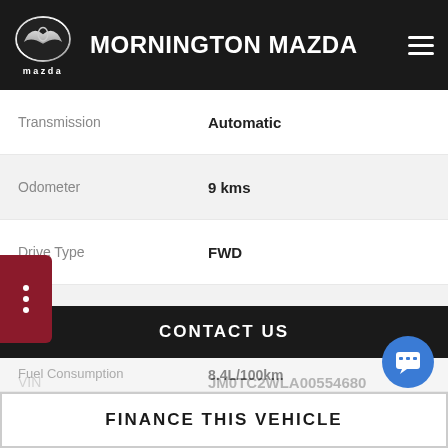MORNINGTON MAZDA
| Label | Value |
| --- | --- |
| Transmission | Automatic |
| Odometer | 9 kms |
| Drive Type | FWD |
| StockNo | 69852 |
| VIN | JM0TC2WLA00554680 |
| Fuel Consumption (Urban) | 11L/100km |
| Fuel Consumption | 6.9L/100km |
| Fuel Consumption | 8.4L/100km |
CONTACT US
FINANCE THIS VEHICLE